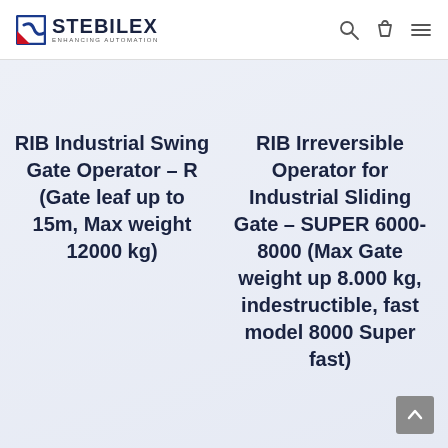STEBILEX ENHANCING AUTOMATION
RIB Industrial Swing Gate Operator – R (Gate leaf up to 15m, Max weight 12000 kg)
RIB Irreversible Operator for Industrial Sliding Gate – SUPER 6000-8000 (Max Gate weight up 8.000 kg, indestructible, fast model 8000 Super fast)